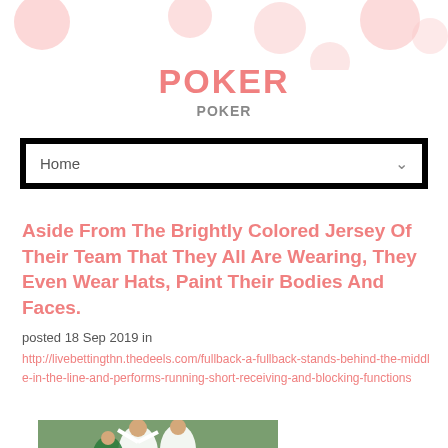[Figure (illustration): Decorative pink polka dot circles header background]
POKER
POKER
[Figure (screenshot): Navigation bar with Home dropdown menu, black border]
Aside From The Brightly Colored Jersey Of Their Team That They All Are Wearing, They Even Wear Hats, Paint Their Bodies And Faces.
posted 18 Sep 2019 in
http://livebettingthn.thedeels.com/fullback-a-fullback-stands-behind-the-middle-in-the-line-and-performs-running-short-receiving-and-blocking-functions
[Figure (photo): Female soccer players on a field, player wearing jersey number 19]